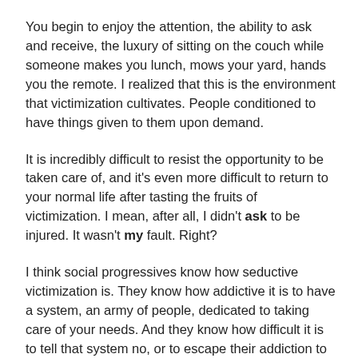You begin to enjoy the attention, the ability to ask and receive, the luxury of sitting on the couch while someone makes you lunch, mows your yard, hands you the remote. I realized that this is the environment that victimization cultivates. People conditioned to have things given to them upon demand.
It is incredibly difficult to resist the opportunity to be taken care of, and it's even more difficult to return to your normal life after tasting the fruits of victimization. I mean, after all, I didn't ask to be injured. It wasn't my fault. Right?
I think social progressives know how seductive victimization is. They know how addictive it is to have a system, an army of people, dedicated to taking care of your needs. And they know how difficult it is to tell that system no, or to escape their addiction to it. This is why the culture of entitlements is such a monumental challenge. How do you reform entitlements when those using them will react to such an effort with the same vitriol as a drug addict would if you threatened to take away